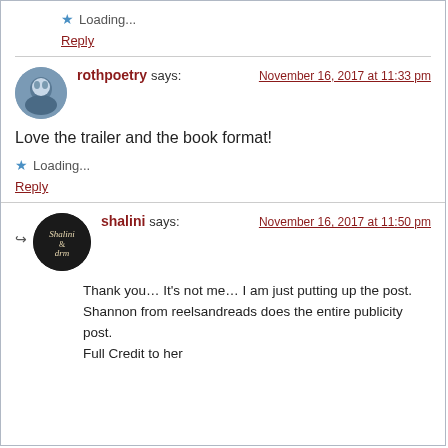★ Loading...
Reply
rothpoetry says: November 16, 2017 at 11:33 pm
Love the trailer and the book format!
★ Loading...
Reply
shalini says: November 16, 2017 at 11:50 pm
Thank you… It's not me… I am just putting up the post. Shannon from reelsandreads does the entire publicity post. Full Credit to her